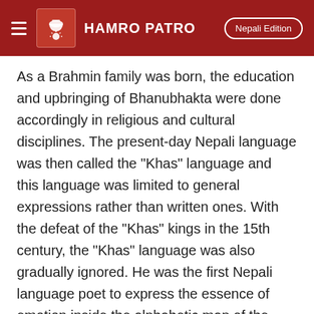HAMRO PATRO — Nepali Edition
As a Brahmin family was born, the education and upbringing of Bhanubhakta were done accordingly in religious and cultural disciplines. The present-day Nepali language was then called the "Khas" language and this language was limited to general expressions rather than written ones. With the defeat of the "Khas" kings in the 15th century, the "Khas" language was also gradually ignored. He was the first Nepali language poet to express the essence of emotion inside the alphabetic map of the Nepali language and .... That is why Bhanubhakta is